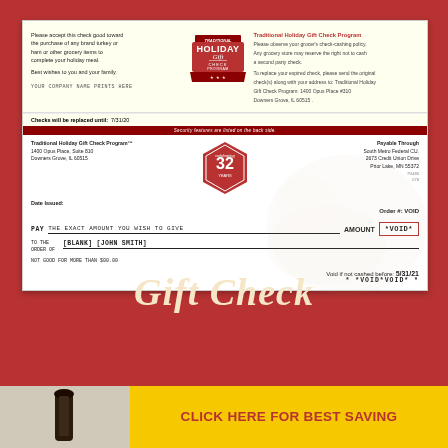[Figure (other): Traditional Holiday Gift Check Program sample check document showing a void check with company logos, address details, payable through information, and void markings]
Gift Check
CLICK HERE FOR BEST SAVING